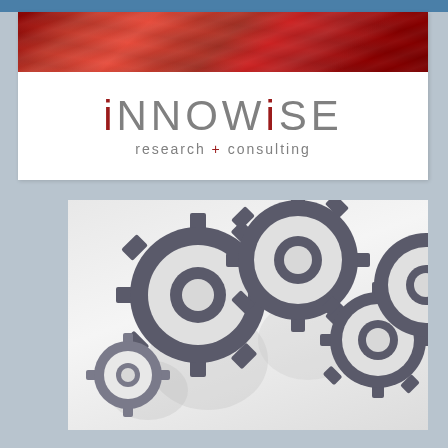[Figure (logo): iNNOWiSE research + consulting logo with red silk banner above]
[Figure (illustration): Gears/cogs illustration in dark gray on light gray background]